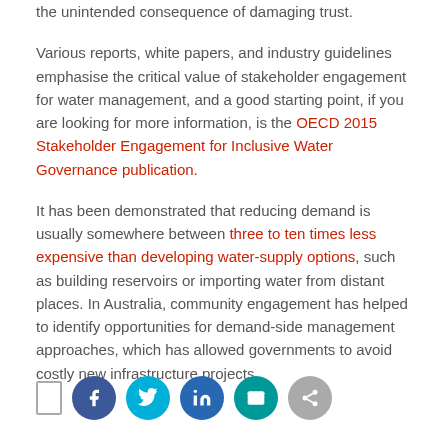the unintended consequence of damaging trust.
Various reports, white papers, and industry guidelines emphasise the critical value of stakeholder engagement for water management, and a good starting point, if you are looking for more information, is the OECD 2015 Stakeholder Engagement for Inclusive Water Governance publication.
It has been demonstrated that reducing demand is usually somewhere between three to ten times less expensive than developing water-supply options, such as building reservoirs or importing water from distant places. In Australia, community engagement has helped to identify opportunities for demand-side management approaches, which has allowed governments to avoid costly new infrastructure projects.
[Figure (infographic): Social sharing bar with bookmark icon and five circular social media buttons: Facebook (dark blue), Twitter (light blue), LinkedIn (blue), email/teal button, and a grey share button.]